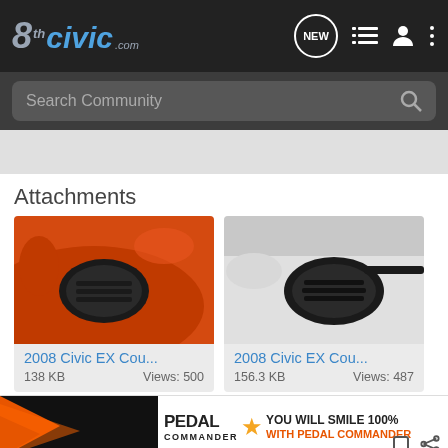8thCivic.com navigation bar with NEW, list, user, and menu icons
Search Community
Attachments
[Figure (photo): Close-up of orange Honda Civic EX front bumper vent/fog light area]
2008 Civic EX Cou...
138 KB    Views: 500
[Figure (photo): Close-up of white Honda Civic EX front bumper vent/fog light area]
2008 Civic EX Cou...
156.3 KB    Views: 487
[Figure (photo): Pedal Commander advertisement banner: YOU WILL SMILE 100% WITH PEDAL COMMANDER]